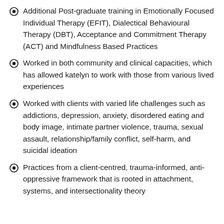Additional Post-graduate training in Emotionally Focused Individual Therapy (EFIT), Dialectical Behavioural Therapy (DBT), Acceptance and Commitment Therapy (ACT) and Mindfulness Based Practices
Worked in both community and clinical capacities, which has allowed katelyn to work with those from various lived experiences
Worked with clients with varied life challenges such as addictions, depression, anxiety, disordered eating and body image, intimate partner violence, trauma, sexual assault, relationship/family conflict, self-harm, and suicidal ideation
Practices from a client-centred, trauma-informed, anti-oppressive framework that is rooted in attachment, systems, and intersectionality theory